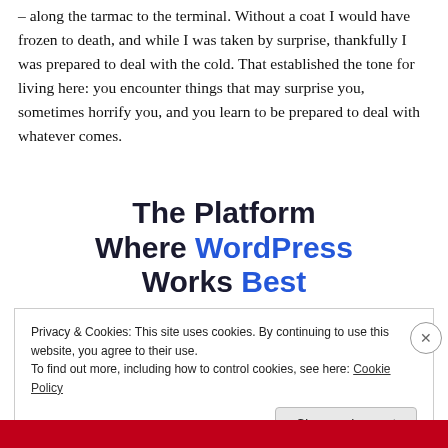– along the tarmac to the terminal. Without a coat I would have frozen to death, and while I was taken by surprise, thankfully I was prepared to deal with the cold. That established the tone for living here: you encounter things that may surprise you, sometimes horrify you, and you learn to be prepared to deal with whatever comes.
The Platform Where WordPress Works Best
Privacy & Cookies: This site uses cookies. By continuing to use this website, you agree to their use.
To find out more, including how to control cookies, see here: Cookie Policy
Close and accept